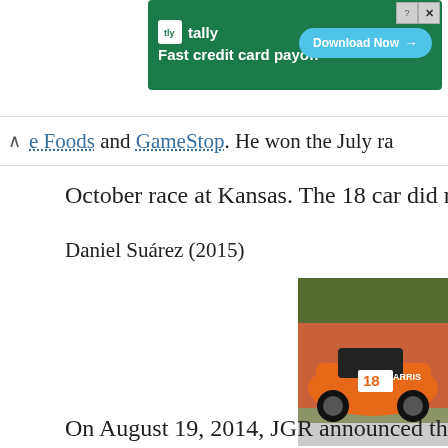[Figure (screenshot): Advertisement banner for Tally - Fast credit card payoff with Download Now button on green background]
e Foods and GameStop. He won the July ra
October race at Kansas. The 18 car did not ru
Daniel Suárez (2015)
[Figure (photo): Daniel Suárez driving orange #18 ARRIS Toyota at Road America race track]
Daniel Suárez at Road America i
On August 19, 2014, JGR announced that Toyo